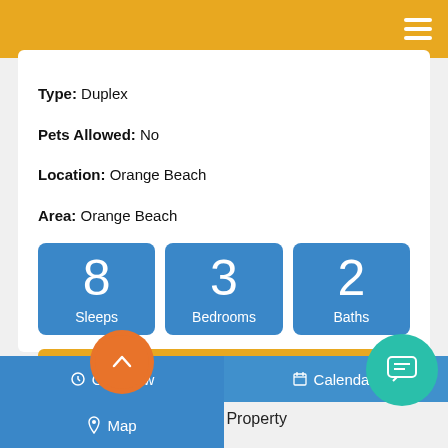Type: Duplex
Pets Allowed: No
Location: Orange Beach
Area: Orange Beach
[Figure (infographic): Three blue tiles showing: 8 Sleeps, 3 Bedrooms, 2 Baths]
Add to Favorites
Print Property
Overview | Calendar | Map